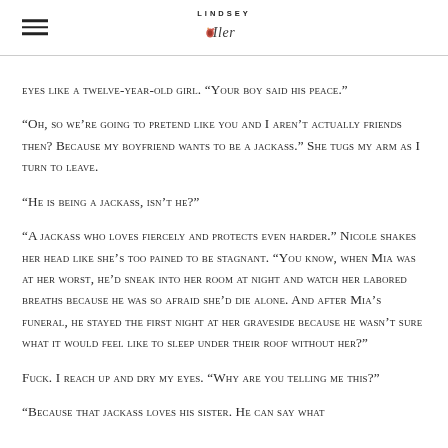LINDSEY Iler [logo]
eyes like a twelve-year-old girl. "Your boy said his peace."
"Oh, so we're going to pretend like you and I aren't actually friends then? Because my boyfriend wants to be a jackass." She tugs my arm as I turn to leave.
"He is being a jackass, isn't he?"
"A jackass who loves fiercely and protects even harder." Nicole shakes her head like she's too pained to be stagnant. "You know, when Mia was at her worst, he'd sneak into her room at night and watch her labored breaths because he was so afraid she'd die alone. And after Mia's funeral, he stayed the first night at her graveside because he wasn't sure what it would feel like to sleep under their roof without her?"
Fuck. I reach up and dry my eyes. "Why are you telling me this?"
"Because that jackass loves his sister. He can say what